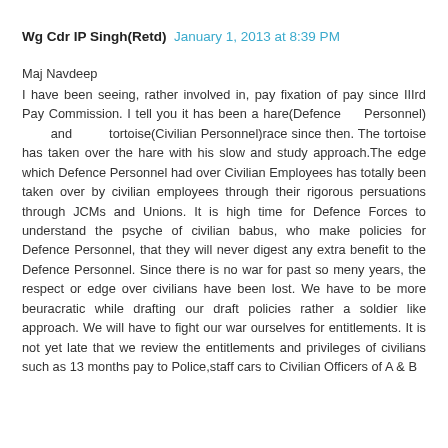Wg Cdr IP Singh(Retd)  January 1, 2013 at 8:39 PM
Maj Navdeep
I have been seeing, rather involved in, pay fixation of pay since IIIrd Pay Commission. I tell you it has been a hare(Defence Personnel) and tortoise(Civilian Personnel)race since then. The tortoise has taken over the hare with his slow and study approach.The edge which Defence Personnel had over Civilian Employees has totally been taken over by civilian employees through their rigorous persuations through JCMs and Unions. It is high time for Defence Forces to understand the psyche of civilian babus, who make policies for Defence Personnel, that they will never digest any extra benefit to the Defence Personnel. Since there is no war for past so meny years, the respect or edge over civilians have been lost. We have to be more beuracratic while drafting our draft policies rather a soldier like approach. We will have to fight our war ourselves for entitlements. It is not yet late that we review the entitlements and privileges of civilians such as 13 months pay to Police,staff cars to Civilian Officers of A & B